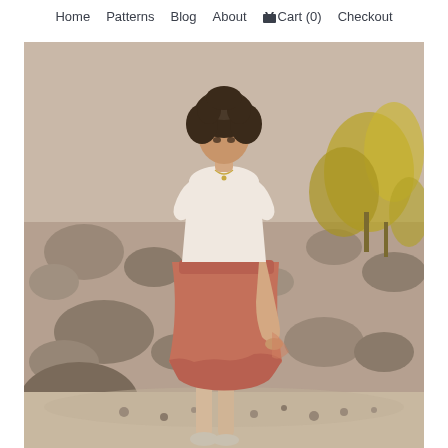Home   Patterns   Blog   About   Cart (0)   Checkout
[Figure (photo): A woman with curly hair wearing a white short-sleeve t-shirt and a rust/terracotta colored midi skirt with a ruffled hem, standing in a rocky desert landscape with shrubs and boulders in the background. She is looking downward and holding the skirt slightly.]